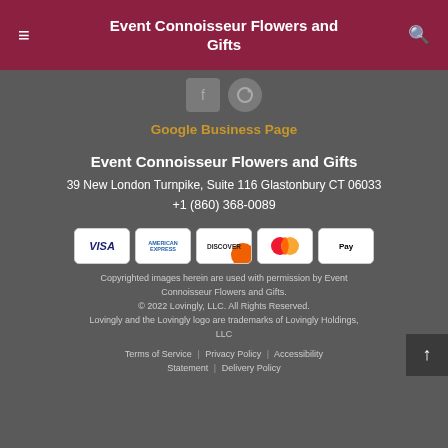Event Connoisseur Flowers and Gifts
[Figure (illustration): Social media icons: Facebook and another icon on dark background]
Google Business Page
Event Connoisseur Flowers and Gifts
39 New London Turnpike, Suite 116 Glastonbury CT 06033
+1 (860) 368-0089
[Figure (illustration): Payment method icons: Visa, American Express, Discover, Mastercard, Apple Pay]
Copyrighted images herein are used with permission by Event Connoisseur Flowers and Gifts.
© 2022 Lovingly, LLC. All Rights Reserved.
Lovingly and the Lovingly logo are trademarks of Lovingly Holdings, LLC
Terms of Service | Privacy Policy | Accessibility Statement | Delivery Policy